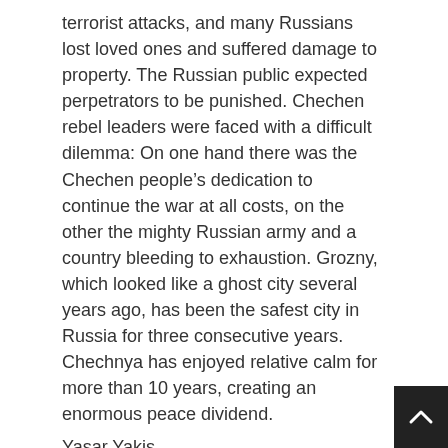terrorist attacks, and many Russians lost loved ones and suffered damage to property. The Russian public expected perpetrators to be punished. Chechen rebel leaders were faced with a difficult dilemma: On one hand there was the Chechen people's dedication to continue the war at all costs, on the other the mighty Russian army and a country bleeding to exhaustion. Grozny, which looked like a ghost city several years ago, has been the safest city in Russia for three consecutive years. Chechnya has enjoyed relative calm for more than 10 years, creating an enormous peace dividend.
Yasar Yakis
Chechen officials put the death toll at 160,000 during the first and second Chechen wars, in 1995-1996 and 1999-2006 respectively. This corresponds to 15 percent of Chechnya's population. Hundreds of thousands were orphaned or widowed, and suffered untold hardship. Entire districts were razed to the ground.
These hard facts pushed leaders to compromise. A peace treaty was signed in 1997 between then-Russian President Boris Yeltsin and Chechen leader Aslan Mashkhadov, but it did not